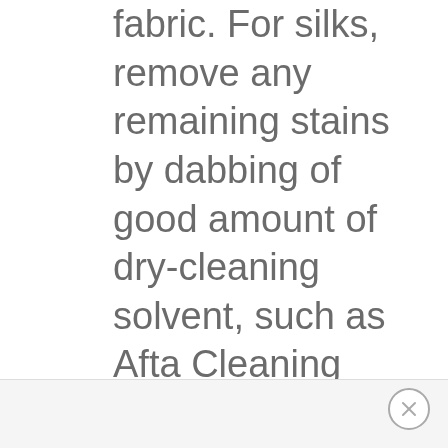fabric. For silks, remove any remaining stains by dabbing of good amount of dry-cleaning solvent, such as Afta Cleaning Fluid and blot with a clean cloth to remove. Allow the piece to dry completely.